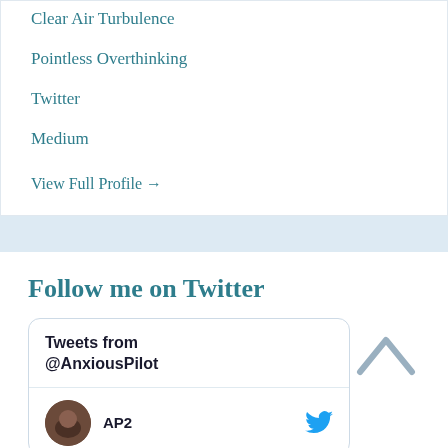Clear Air Turbulence
Pointless Overthinking
Twitter
Medium
View Full Profile →
Follow me on Twitter
Tweets from @AnxiousPilot
AP2